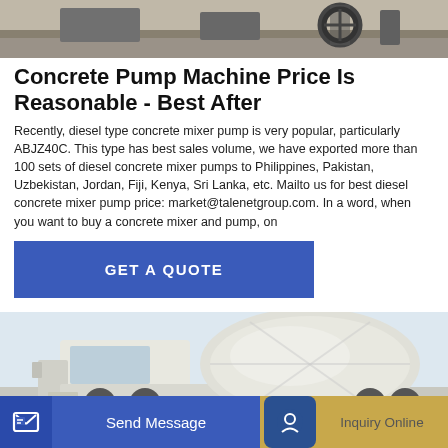[Figure (photo): Top portion of industrial construction machinery (concrete pump equipment) on a concrete floor, partial view showing mechanical components and a large wheel]
Concrete Pump Machine Price Is Reasonable - Best After
Recently, diesel type concrete mixer pump is very popular, particularly ABJZ40C. This type has best sales volume, we have exported more than 100 sets of diesel concrete mixer pumps to Philippines, Pakistan, Uzbekistan, Jordan, Fiji, Kenya, Sri Lanka, etc. Mailto us for best diesel concrete mixer pump price: market@talenetgroup.com. In a word, when you want to buy a concrete mixer and pump, on
[Figure (other): GET A QUOTE call-to-action button in blue]
[Figure (photo): White concrete mixer truck with large rotating drum, photographed from the side/front, against a light blue sky background]
[Figure (other): Bottom action bar with Send Message (blue) and Inquiry Online (tan/gold) buttons]